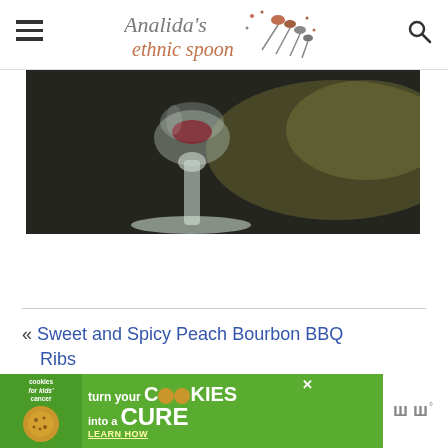Analida's ethnic spoon — navigation header with hamburger menu and search icon
[Figure (photo): Close-up photo of a glass goblet on a dark table surface, blurred background with warm light]
« Sweet and Spicy Peach Bourbon BBQ Ribs
[Figure (infographic): Advertisement banner: cookies for kids cancer — turn your COOKIES into a CURE LEARN HOW]